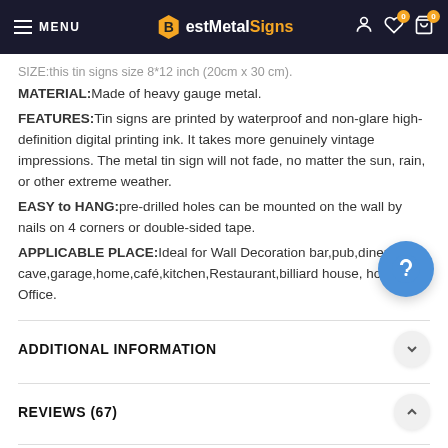MENU | BestMetalSigns
SIZE:this tin signs size 8*12 inch (20cm x 30 cm).
MATERIAL:Made of heavy gauge metal.
FEATURES:Tin signs are printed by waterproof and non-glare high-definition digital printing ink. It takes more genuinely vintage impressions. The metal tin sign will not fade, no matter the sun, rain, or other extreme weather.
EASY to HANG:pre-drilled holes can be mounted on the wall by nails on 4 corners or double-sided tape.
APPLICABLE PLACE:Ideal for Wall Decoration bar,pub,diner,man cave,garage,home,café,kitchen,Restaurant,billiard house, hotel or Office.
ADDITIONAL INFORMATION
REVIEWS (67)